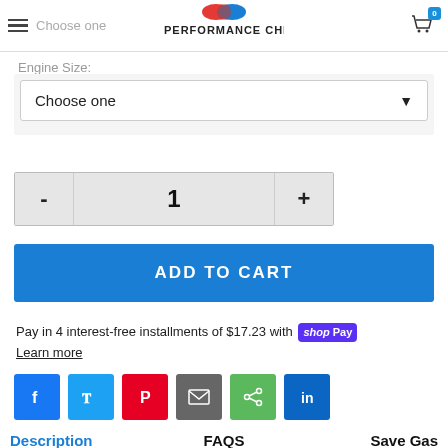Choose one | PERFORMANCE CHIPS USA | Cart: 0
Engine Size:
Choose one
- 1 +
ADD TO CART
Pay in 4 interest-free installments of $17.23 with shop Pay
Learn more
[Figure (infographic): Social share buttons row: Facebook (blue), Twitter (light blue), Pinterest (red), Email (gray), Share (green), LinkedIn (dark blue)]
Description   FAQS   Save Gas